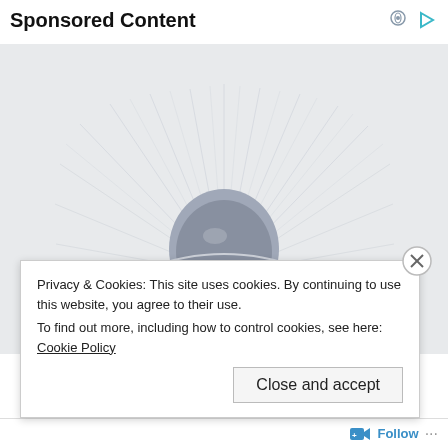Sponsored Content
[Figure (photo): Close-up macro photograph of a human eye iris, showing pale blue-white coloring with radiating fibrous texture and a dark pupil at center. Only the upper portion of the iris is visible.]
Privacy & Cookies: This site uses cookies. By continuing to use this website, you agree to their use.
To find out more, including how to control cookies, see here: Cookie Policy
Close and accept
Follow